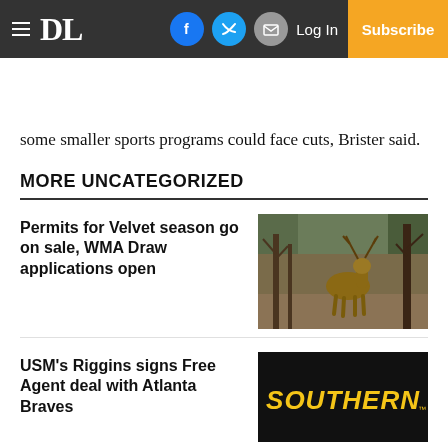DL | Log In | Subscribe
some smaller sports programs could face cuts, Brister said.
MORE UNCATEGORIZED
Permits for Velvet season go on sale, WMA Draw applications open
[Figure (photo): A deer with antlers standing in a wooded area with bare branches in winter]
USM's Riggins signs Free Agent deal with Atlanta Braves
[Figure (logo): Southern Miss logo on black background with yellow text reading SOUTHERN]